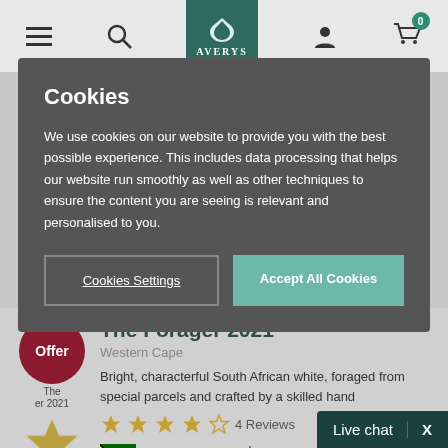Averys navigation bar with hamburger menu, search, logo, account, and cart
Cookies
We use cookies on our website to provide you with the best possible experience. This includes data processing that helps our website run smoothly as well as other techniques to ensure the content you are seeing is relevant and personalised to you.
Cookies Settings | Accept All Cookies
The Forager 2021
Western Cape
Bright, characterful South African white, foraged from special parcels and crafted by a skilled hand
4 Reviews
South Africa
Live chat